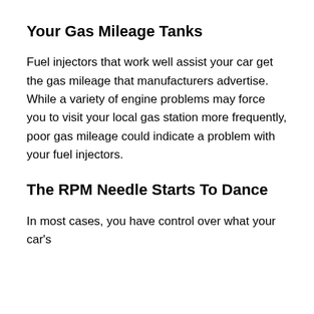Your Gas Mileage Tanks
Fuel injectors that work well assist your car get the gas mileage that manufacturers advertise. While a variety of engine problems may force you to visit your local gas station more frequently, poor gas mileage could indicate a problem with your fuel injectors.
The RPM Needle Starts To Dance
In most cases, you have control over what your car's